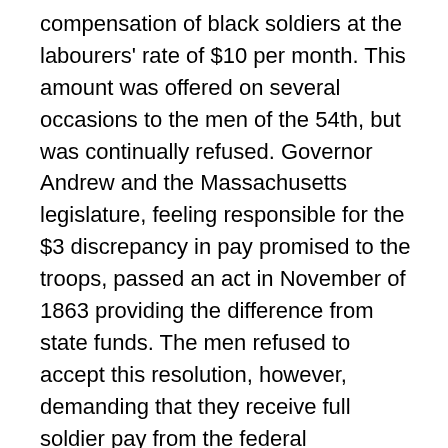compensation of black soldiers at the labourers' rate of $10 per month. This amount was offered on several occasions to the men of the 54th, but was continually refused. Governor Andrew and the Massachusetts legislature, feeling responsible for the $3 discrepancy in pay promised to the troops, passed an act in November of 1863 providing the difference from state funds. The men refused to accept this resolution, however, demanding that they receive full soldier pay from the federal government. It was not until September of 1864 that the men of the 54th received any compensation for their valiant efforts, finally receiving their full pay since the time of enlistment, totalling $170,000. (Footnote 7) Each soldier was paid a $50 bounty before leaving Camp Meigs and this is the extent of the bounty that many received. By a later law, $325 was paid to some men, however most families